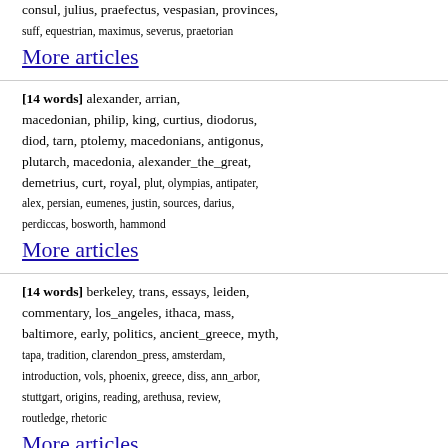consul, julius, praefectus, vespasian, provinces, suff, equestrian, maximus, severus, praetorian
More articles
[14 words] alexander, arrian, macedonian, philip, king, curtius, diodorus, diod, tarn, ptolemy, macedonians, antigonus, plutarch, macedonia, alexander_the_great, demetrius, curt, royal, plut, olympias, antipater, alex, persian, eumenes, justin, sources, darius, perdiccas, bosworth, hammond
More articles
[14 words] berkeley, trans, essays, leiden, commentary, los_angeles, ithaca, mass, baltimore, early, politics, ancient_greece, myth, tapa, tradition, clarendon_press, amsterdam, introduction, vols, phoenix, greece, diss, ann_arbor, stuttgart, origins, reading, arethusa, review, routledge, rhetoric
More articles
[13 words] tacitus, nero, domitian, vespasian, galba, suetonius, agricola, emperor, titus, otho, vitellius, suet, trajan